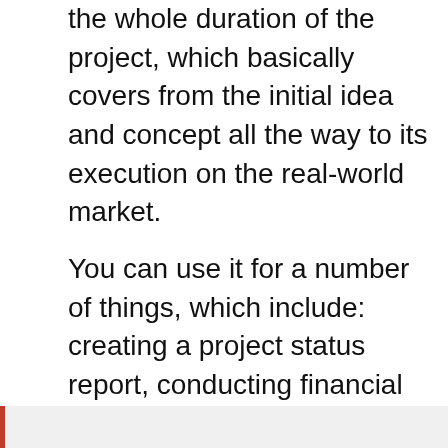the whole duration of the project, which basically covers from the initial idea and concept all the way to its execution on the real-world market.
You can use it for a number of things, which include: creating a project status report, conducting financial analysis, tracking sales figures, and generating proposals. Using this template is so beneficial because it allows you to make your job much easier, particularly if you are handling a number of concepts and ideas at the same time. So what are you waiting for? You should start using a Business Project Report Template now!